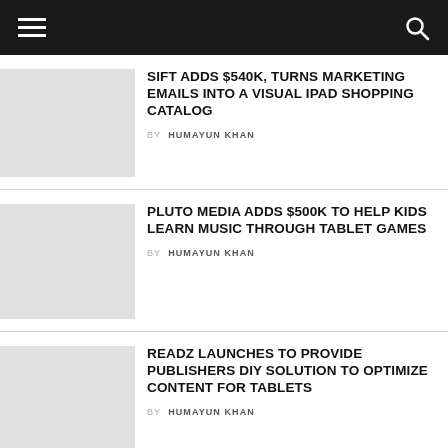SIFT ADDS $540K, TURNS MARKETING EMAILS INTO A VISUAL IPAD SHOPPING CATALOG
BY HUMAYUN KHAN
PLUTO MEDIA ADDS $500K TO HELP KIDS LEARN MUSIC THROUGH TABLET GAMES
BY HUMAYUN KHAN
READZ LAUNCHES TO PROVIDE PUBLISHERS DIY SOLUTION TO OPTIMIZE CONTENT FOR TABLETS
BY HUMAYUN KHAN